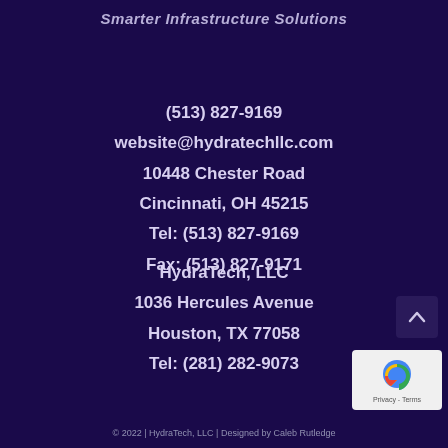Smarter Infrastructure Solutions
(513) 827-9169
website@hydratechllc.com
10448 Chester Road
Cincinnati, OH 45215
Tel: (513) 827-9169
Fax: (513) 827-9171
HydraTech, LLC
1036 Hercules Avenue
Houston, TX 77058
Tel: (281) 282-9073
© 2022 | HydraTech, LLC | Designed by Caleb Rutledge